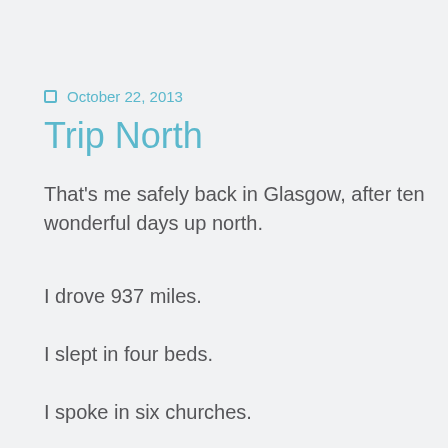October 22, 2013
Trip North
That's me safely back in Glasgow, after ten wonderful days up north.
I drove 937 miles.
I slept in four beds.
I spoke in six churches.
I met with nothing but interest and kindness.